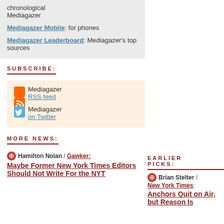chronological Mediagazer
Mediagazer Mobile: for phones
Mediagazer Leaderboard: Mediagazer's top sources
SUBSCRIBE:
Mediagazer RSS feed
Mediagazer on Twitter
MORE NEWS:
Hamilton Nolan / Gawker: Maybe Former New York Times Editors Should Not Write For the NYT
EARLIER PICKS:
Brian Stelter / New York Times: Anchors Quit on Air, but Reason Is